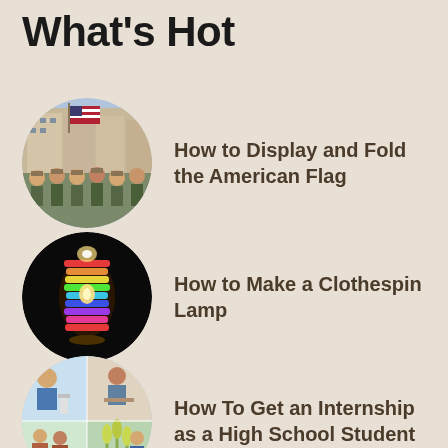What's Hot
How to Display and Fold the American Flag
How to Make a Clothespin Lamp
How To Get an Internship as a High School Student